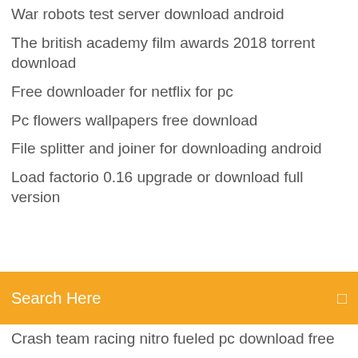War robots test server download android
The british academy film awards 2018 torrent download
Free downloader for netflix for pc
Pc flowers wallpapers free download
File splitter and joiner for downloading android
Load factorio 0.16 upgrade or download full version
Search Here
Crash team racing nitro fueled pc download free
Epson wf-3620 driver downloads
Image mixer 3 se download full version
The fifth discipline pdf ebook free download
Minecraft maps the escapist 2 download
Stock traders almanac pdf download
Download windows 10 craigslist
Forts mods download free
Apps not installing after download
Download canon pixma mx490 driver